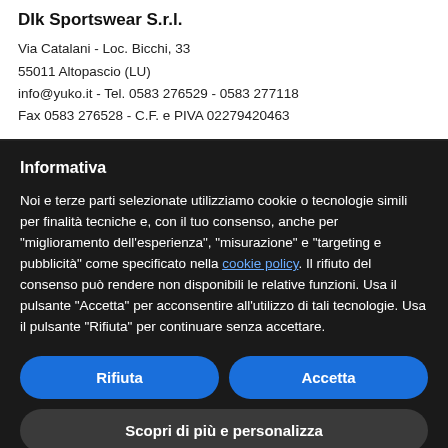DIk Sportswear S.r.l.
Via Catalani - Loc. Bicchi, 33
55011 Altopascio (LU)
info@yuko.it - Tel. 0583 276529 - 0583 277118
Fax 0583 276528 - C.F. e PIVA 02279420463
Informativa
Noi e terze parti selezionate utilizziamo cookie o tecnologie simili per finalità tecniche e, con il tuo consenso, anche per "miglioramento dell'esperienza", "misurazione" e "targeting e pubblicità" come specificato nella cookie policy. Il rifiuto del consenso può rendere non disponibili le relative funzioni. Usa il pulsante "Accetta" per acconsentire all'utilizzo di tali tecnologie. Usa il pulsante "Rifiuta" per continuare senza accettare.
Rifiuta | Accetta
Scopri di più e personalizza